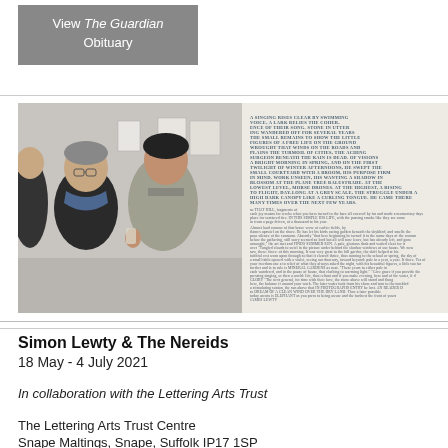View The Guardian Obituary
[Figure (photo): Two men in conversation at an art gallery, artworks visible on wall behind them]
[Figure (photo): Close-up of a text-based artwork with dense lettering in blue-grey tones on white background]
Simon Lewty & The Nereids
18 May - 4 July 2021
In collaboration with the Lettering Arts Trust
The Lettering Arts Trust Centre
Snape Maltings, Snape, Suffolk IP17 1SP